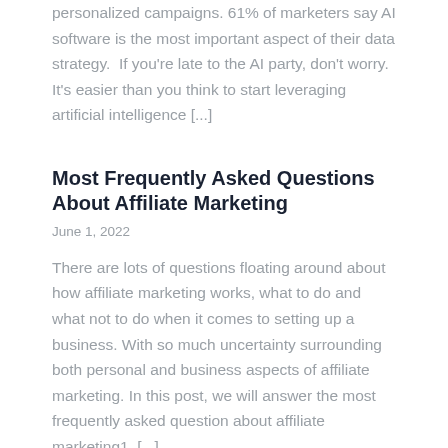personalized campaigns. 61% of marketers say AI software is the most important aspect of their data strategy.  If you're late to the AI party, don't worry. It's easier than you think to start leveraging artificial intelligence [...]
Most Frequently Asked Questions About Affiliate Marketing
June 1, 2022
There are lots of questions floating around about how affiliate marketing works, what to do and what not to do when it comes to setting up a business. With so much uncertainty surrounding both personal and business aspects of affiliate marketing. In this post, we will answer the most frequently asked question about affiliate marketing1. [...]